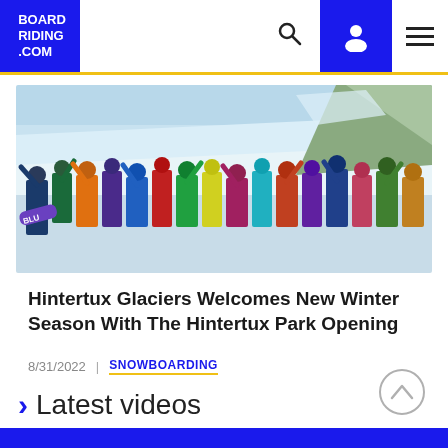BOARD RIDING .COM
[Figure (photo): Group of snowboarders celebrating at Hintertux Glacier park opening, wearing colorful gear, raising hands, with snowy mountain slope in background]
Hintertux Glaciers Welcomes New Winter Season With The Hintertux Park Opening
8/31/2022  |  SNOWBOARDING
Latest videos